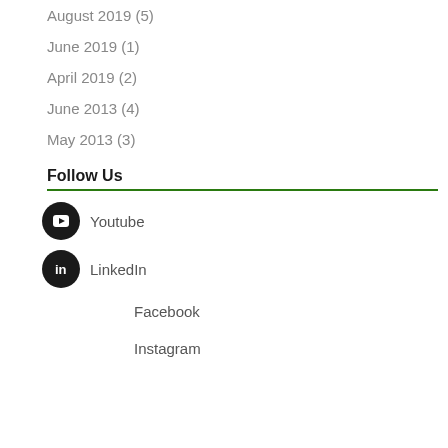August 2019 (5)
June 2019 (1)
April 2019 (2)
June 2013 (4)
May 2013 (3)
Follow Us
Youtube
LinkedIn
Facebook
Instagram